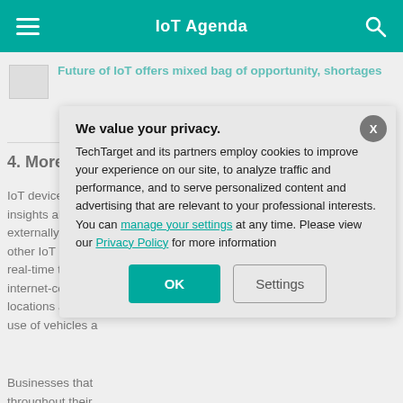IoT Agenda
Future of IoT offers mixed bag of opportunity, shortages
4. More business insights
IoT devices help insights about the externally. Retail other IoT device real-time traffic p internet-connect locations and sc use of vehicles a
We value your privacy. TechTarget and its partners employ cookies to improve your experience on our site, to analyze traffic and performance, and to serve personalized content and advertising that are relevant to your professional interests. You can manage your settings at any time. Please view our Privacy Policy for more information
Businesses that throughout their market for new p